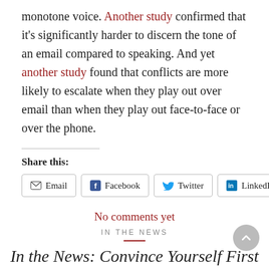monotone voice. Another study confirmed that it's significantly harder to discern the tone of an email compared to speaking. And yet another study found that conflicts are more likely to escalate when they play out over email than when they play out face-to-face or over the phone.
Share this:
Email | Facebook | Twitter | LinkedIn
No comments yet
IN THE NEWS
In the News: Convince Yourself First